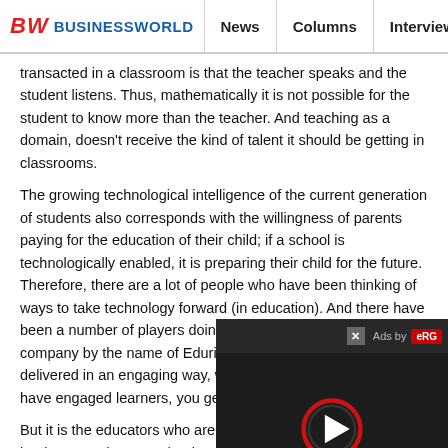BW BUSINESSWORLD | News | Columns | Interviews | BW
transacted in a classroom is that the teacher speaks and the student listens. Thus, mathematically it is not possible for the student to know more than the teacher. And teaching as a domain, doesn't receive the kind of talent it should be getting in classrooms.
The growing technological intelligence of the current generation of students also corresponds with the willingness of parents paying for the education of their child; if a school is technologically enabled, it is preparing their child for the future. Therefore, there are a lot of people who have been thinking of ways to take technology forward (in education). And there have been a number of players doing so, quite well.  We have our company by the name of Edurite which runs digitally. Content is delivered in an engaging way, which is great because once you have engaged learners, you get their attention automatically.
But it is the educators who are most impo... teachers still use books to teach.  Even th... books  to learn. If that is the case, then w... books and hence why shouldn't we make our content a lot...
[Figure (screenshot): Ad overlay with close button, 'Ads by' label with red logo, and video player with play button on dark background]